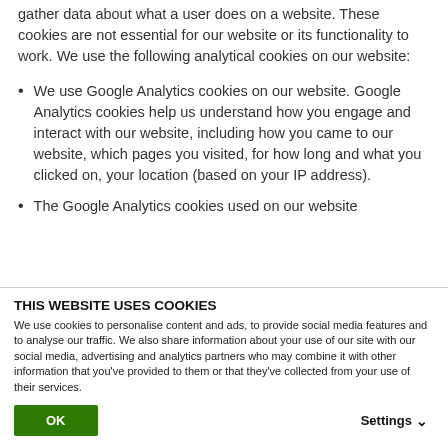gather data about what a user does on a website. These cookies are not essential for our website or its functionality to work. We use the following analytical cookies on our website:
We use Google Analytics cookies on our website. Google Analytics cookies help us understand how you engage and interact with our website, including how you came to our website, which pages you visited, for how long and what you clicked on, your location (based on your IP address).
The Google Analytics cookies used on our website
THIS WEBSITE USES COOKIES
We use cookies to personalise content and ads, to provide social media features and to analyse our traffic. We also share information about your use of our site with our social media, advertising and analytics partners who may combine it with other information that you've provided to them or that they've collected from your use of their services.